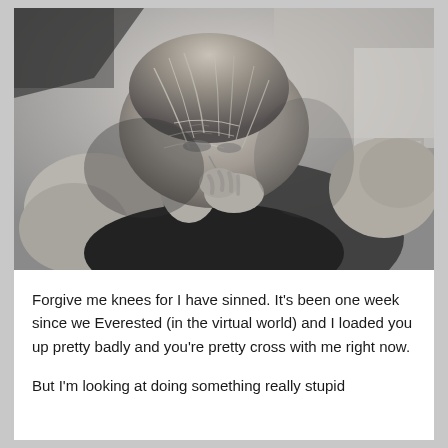[Figure (photo): Black and white photograph of a person (viewed from above/side) with short hair, head bowed down, hand raised near chin, wearing a dark sleeveless top, appearing distressed or emotional. A knee and background interior visible.]
Forgive me knees for I have sinned. It's been one week since we Everested (in the virtual world) and I loaded you up pretty badly and you're pretty cross with me right now.
But I'm looking at doing something really stupid